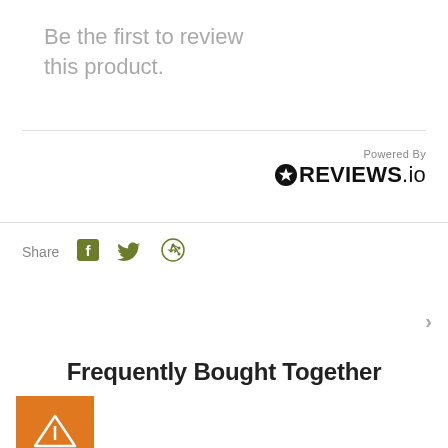Be the first to review this product.
[Figure (logo): REVIEWS.io logo with star icon and 'Powered By' label]
Share
[Figure (infographic): Social share icons: Facebook, Twitter, Pinterest in olive/green color]
>
Frequently Bought Together
[Figure (logo): Orange square tile with white hanger/tent icon]